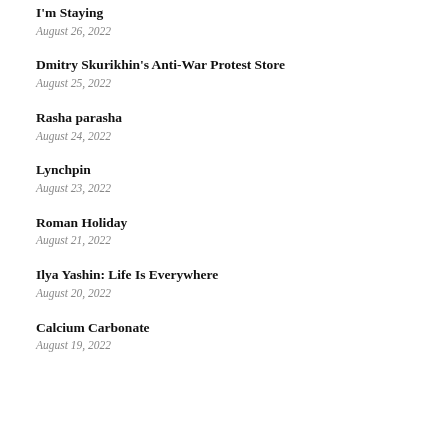I'm Staying
August 26, 2022
Dmitry Skurikhin's Anti-War Protest Store
August 25, 2022
Rasha parasha
August 24, 2022
Lynchpin
August 23, 2022
Roman Holiday
August 21, 2022
Ilya Yashin: Life Is Everywhere
August 20, 2022
Calcium Carbonate
August 19, 2022